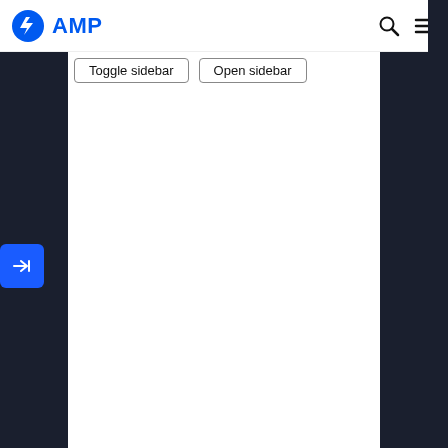[Figure (screenshot): AMP project website screenshot showing navigation bar with AMP logo (blue circle with lightning bolt and 'AMP' text), search icon, hamburger menu icon at top. Below the nav bar is a demo area with dark sidebar columns on left and right, a white center area containing two buttons labeled 'Toggle sidebar' and 'Open sidebar', and a blue rounded square button with a right-arrow/dock icon on the left edge.]